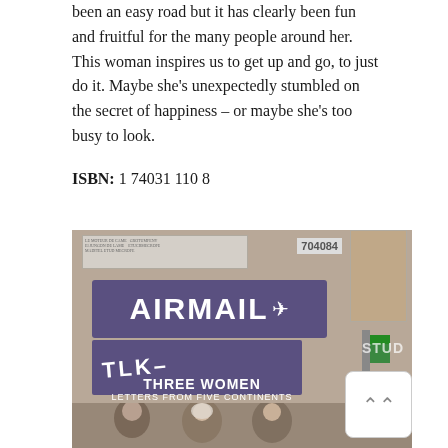been an easy road but it has clearly been fun and fruitful for the many people around her. This woman inspires us to get up and go, to just do it. Maybe she's unexpectedly stumbled on the secret of happiness – or maybe she's too busy to look.
ISBN: 1 74031 110 8
[Figure (photo): Book cover of 'Airmail: Three Women – Letters from Five Continents'. Features an airmail label banner in purple/dark blue with 'AIRMAIL' in large white bold text and a small aircraft symbol. A second purple banner partially visible with 'TLK' letters. Background is a collage of newspaper clippings, tickets, and stamps. Text at bottom reads 'THREE WOMEN LETTERS FROM FIVE CONTINENTS'. People visible at the bottom of the cover.]